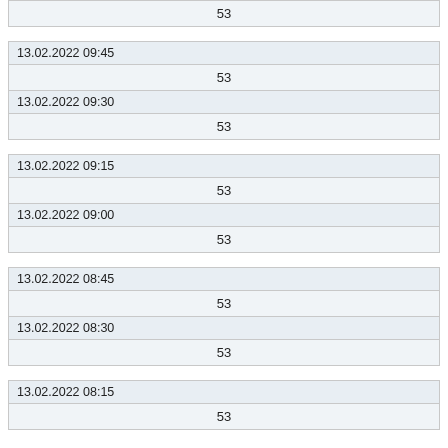| 53 |
| 13.02.2022 09:45 |
| --- |
| 53 |
| 13.02.2022 09:30 |
| --- |
| 53 |
| 13.02.2022 09:15 |
| --- |
| 53 |
| 13.02.2022 09:00 |
| --- |
| 53 |
| 13.02.2022 08:45 |
| --- |
| 53 |
| 13.02.2022 08:30 |
| --- |
| 53 |
| 13.02.2022 08:15 |
| --- |
| 53 |